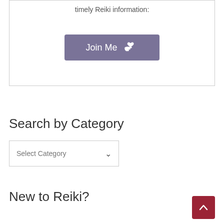timely Reiki information:
[Figure (other): Join Me button with heart-and-hand icon, purple/slate background]
Search by Category
[Figure (other): Select Category dropdown box]
New to Reiki?
[Figure (other): Back to top button, dark red with upward chevron arrow]